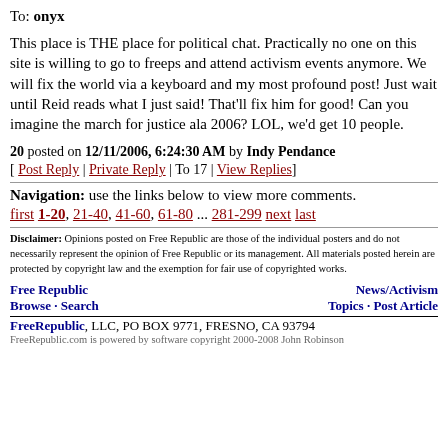To: onyx
This place is THE place for political chat. Practically no one on this site is willing to go to freeps and attend activism events anymore. We will fix the world via a keyboard and my most profound post! Just wait until Reid reads what I just said! That'll fix him for good! Can you imagine the march for justice ala 2006? LOL, we'd get 10 people.
20 posted on 12/11/2006, 6:24:30 AM by Indy Pendance
[ Post Reply | Private Reply | To 17 | View Replies]
Navigation: use the links below to view more comments.
first 1-20, 21-40, 41-60, 61-80 ... 281-299 next last
Disclaimer: Opinions posted on Free Republic are those of the individual posters and do not necessarily represent the opinion of Free Republic or its management. All materials posted herein are protected by copyright law and the exemption for fair use of copyrighted works.
Free Republic
Browse · Search
News/Activism
Topics · Post Article
FreeRepublic, LLC, PO BOX 9771, FRESNO, CA 93794
FreeRepublic.com is powered by software copyright 2000-2008 John Robinson